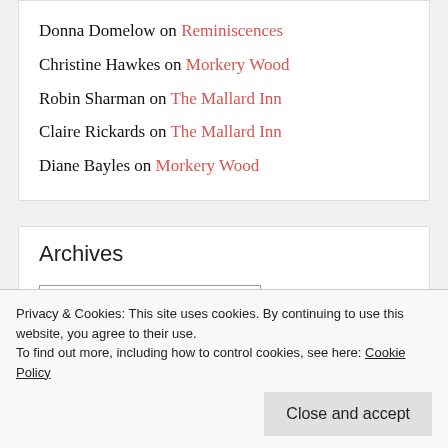Donna Domelow on Reminiscences
Christine Hawkes on Morkery Wood
Robin Sharman on The Mallard Inn
Claire Rickards on The Mallard Inn
Diane Bayles on Morkery Wood
Archives
Select Month
Privacy & Cookies: This site uses cookies. By continuing to use this website, you agree to their use.
To find out more, including how to control cookies, see here: Cookie Policy
Close and accept